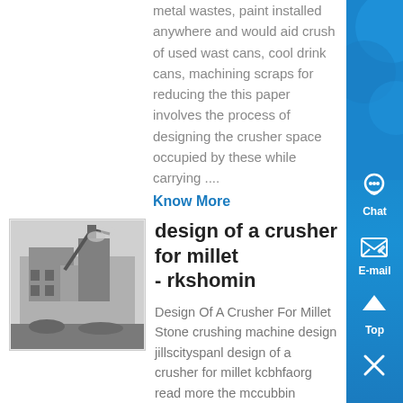metal wastes, paint installed anywhere and would aid crush of used wast cans, cool drink cans, machining scraps for reducing the this paper involves the process of designing the crusher space occupied by these while carrying ....
Know More
[Figure (photo): Black and white photo of industrial crusher machinery]
design of a crusher for millet - rkshomin
Design Of A Crusher For Millet Stone crushing machine design jillscityspanl design of a crusher for millet kcbhfaorg read more the mccubbin times15 august 2009 millet crushers design of cassava crushing machine manufacturer in shanghai, china SKD production stone crusher is live chat; low noise impact stone crushing machine design...
Know More